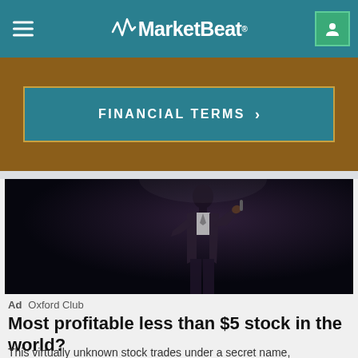MarketBeat
FINANCIAL TERMS >
[Figure (photo): Dark stage photo of a person in a suit presenting, silhouetted against a nearly black background]
Ad  Oxford Club
Most profitable less than $5 stock in the world?
This virtually unknown stock trades under a secret name,